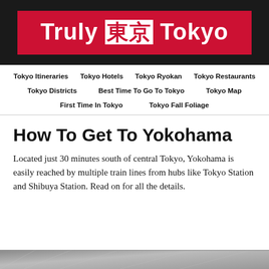Truly 東京 Tokyo
Tokyo Itineraries
Tokyo Hotels
Tokyo Ryokan
Tokyo Restaurants
Tokyo Districts
Best Time To Go To Tokyo
Tokyo Map
First Time In Tokyo
Tokyo Fall Foliage
How To Get To Yokohama
Located just 30 minutes south of central Tokyo, Yokohama is easily reached by multiple train lines from hubs like Tokyo Station and Shibuya Station. Read on for all the details.
[Figure (photo): Partial view of Yokohama station or train platform, bottom strip of image visible]